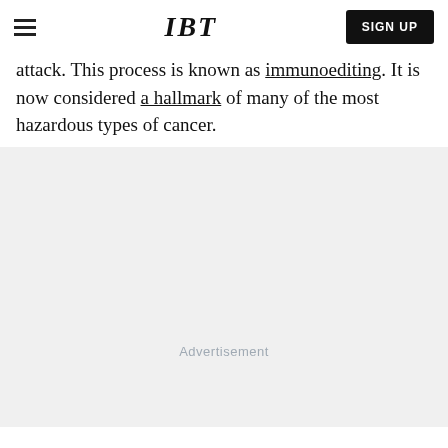IBT
attack. This process is known as immunoediting. It is now considered a hallmark of many of the most hazardous types of cancer.
[Figure (other): Advertisement placeholder area with light gray background and 'Advertisement' label]